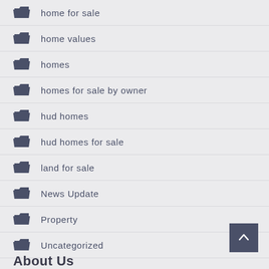home for sale
home values
homes
homes for sale by owner
hud homes
hud homes for sale
land for sale
News Update
Property
Uncategorized
About Us